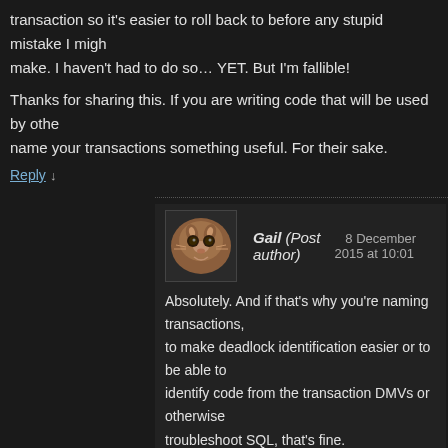transaction so it's easier to roll back to before any stupid mistake I might make. I haven't had to do so… YET. But I'm fallible!
Thanks for sharing this. If you are writing code that will be used by others, name your transactions something useful. For their sake.
Reply ↓
Gail (Post author)   8 December 2015 at 10:01
Absolutely. And if that's why you're naming transactions, to make deadlock identification easier or to be able to identify code from the transaction DMVs or otherwise troubleshoot SQL, that's fine.
I wrote this because I've seen a few people recently who thought that naming transactions changed the commit/rollback behaviours.
Reply ↓
Brian J. Parker